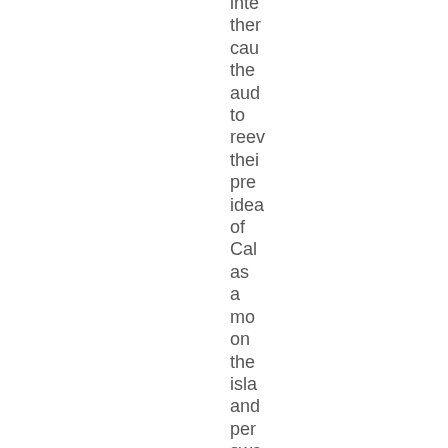inte
ther
cau
the
aud
to
reev
thei
pre
idea
of
Cal
as
a
mo
on
the
isla
and
per
swe
the
to
see
him